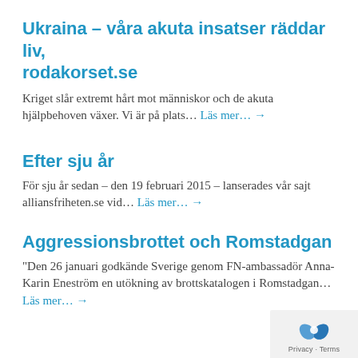Ukraina – våra akuta insatser räddar liv, rodakorset.se
Kriget slår extremt hårt mot människor och de akuta hjälpbehoven växer. Vi är på plats... Läs mer... →
Efter sju år
För sju år sedan – den 19 februari 2015 – lanserades vår sajt alliansfriheten.se vid... Läs mer... →
Aggressionsbrottet och Romstadgan
"Den 26 januari godkände Sverige genom FN-ambassadör Anna-Karin Eneström en utökning av brottskatalogen i Romstadgan... Läs mer... →